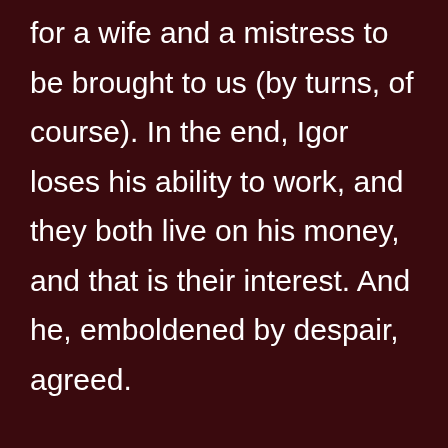for a wife and a mistress to be brought to us (by turns, of course). In the end, Igor loses his ability to work, and they both live on his money, and that is their interest. And he, emboldened by despair, agreed. The mistress categorically denied the fact that she somehow conjured. But when we painted the consequences of her actions, she said that she “understood” … It became clear that at least until she recovered, the man on this side was safe. The wife did not even hide the fact that she